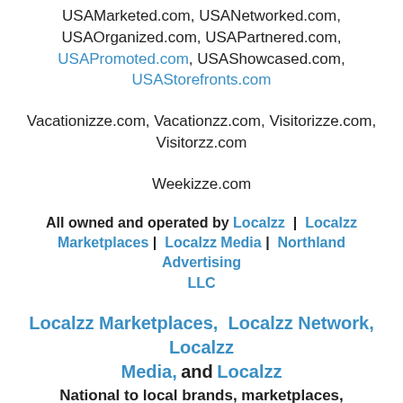USAMarketed.com, USANetworked.com, USAOrganized.com, USAPartnered.com, USAPromoted.com, USAShowcased.com, USAStorefronts.com
Vacationizze.com, Vacationzz.com, Visitorizze.com, Visitorzz.com
Weekizze.com
All owned and operated by Localzz | Localzz Marketplaces | Localzz Media | Northland Advertising LLC
Localzz Marketplaces, Localzz Network, Localzz Media, and Localzz National to local brands, marketplaces, directories, and media destinations